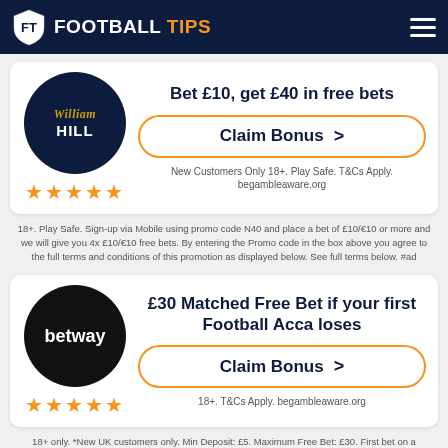FOOTBALL TIPS
[Figure (logo): William Hill betting site logo - dark blue circle with William Hill text]
Bet £10, get £40 in free bets
Claim Bonus >
New Customers Only 18+. Play Safe. T&Cs Apply. begambleaware.org
18+. Play Safe. Sign-up via Mobile using promo code N40 and place a bet of £10/€10 or more and we will give you 4x £10/€10 free bets. By entering the Promo code in the box above you agree to the full terms and conditions of this promotion as displayed below. See full terms below. #ad
[Figure (logo): Betway betting site logo - black circle with betway text in white]
£30 Matched Free Bet if your first Football Acca loses
Claim Bonus >
18+. T&Cs Apply. begambleaware.org
18+ only. *New UK customers only. Min Deposit: £5. Maximum Free Bet: £30. First bet on a Football multiple with 3+ selections. Overall odds: 3.00 (2/1) or higher. Free Bets available upon settlement of the qualifying bet. Debit card deposits only. This is offer is valid for 7 days from